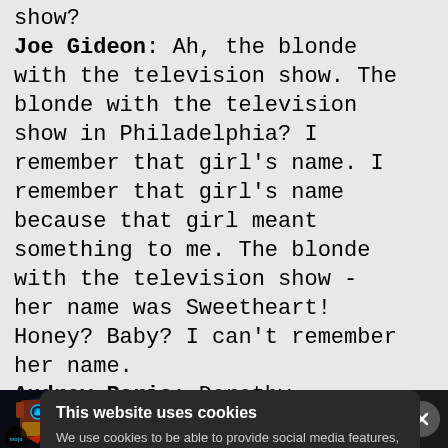show? Joe Gideon: Ah, the blonde with the television show. The blonde with the television show in Philadelphia? I remember that girl's name. I remember that girl's name because that girl meant something to me. The blonde with the television show - her name was Sweetheart! Honey? Baby? I can't remember her name. Audrey Paris: Dorothy. Dorothy. Joe Gideon: Who cares? I can't
This website uses cookies
We use cookies to be able to provide social media features, analyse our traffic and behaviour of the visitors on our website and for
[Figure (screenshot): Video widget at bottom of screen showing Iron Man thumbnail with WatchMojo logo and play button, with title 'Top 10 Biggest Movie Coincidences Ever' and a close (X) button]